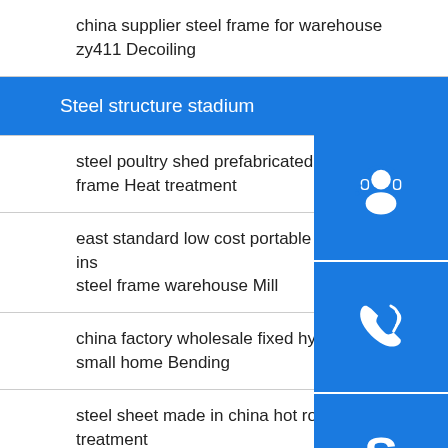china supplier steel frame for warehouse zy411 Decoiling
Steel structure stadium
steel poultry shed prefabricated building aluminium frame Heat treatment
east standard low cost portable steel carport inside steel frame warehouse Mill
china factory wholesale fixed hydraulic electric small home Bending
steel sheet made in china hot rolled coil Heat treatment